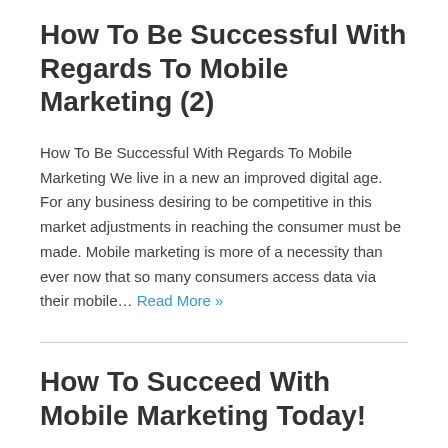How To Be Successful With Regards To Mobile Marketing (2)
How To Be Successful With Regards To Mobile Marketing We live in a new an improved digital age. For any business desiring to be competitive in this market adjustments in reaching the consumer must be made. Mobile marketing is more of a necessity than ever now that so many consumers access data via their mobile… Read More »
How To Succeed With Mobile Marketing Today!
How To Succeed With Mobile Marketing Today! Why do you